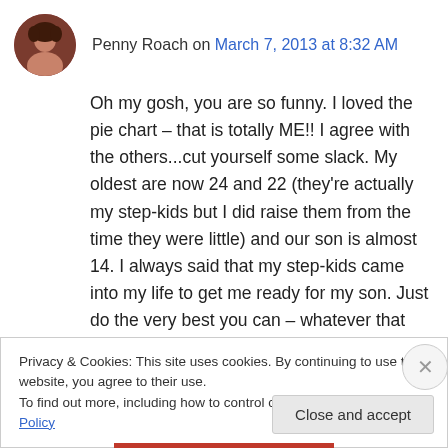Penny Roach on March 7, 2013 at 8:32 AM
Oh my gosh, you are so funny. I loved the pie chart – that is totally ME!! I agree with the others...cut yourself some slack. My oldest are now 24 and 22 (they're actually my step-kids but I did raise them from the time they were little) and our son is almost 14. I always said that my step-kids came into my life to get me ready for my son. Just do the very best you can – whatever that happens to be on a given day –
Privacy & Cookies: This site uses cookies. By continuing to use this website, you agree to their use.
To find out more, including how to control cookies, see here: Cookie Policy